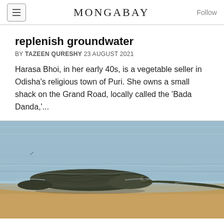MONGABAY
replenish groundwater
BY TAZEEN QURESHY 23 AUGUST 2021
Harasa Bhoi, in her early 40s, is a vegetable seller in Odisha's religious town of Puri. She owns a small shack on the Grand Road, locally called the 'Bada Danda,'...
[Figure (photo): A gharial or large crocodilian partially submerged in shallow water, with its long narrow snout extending to the right, brown sandy foreground and blue-grey water background.]